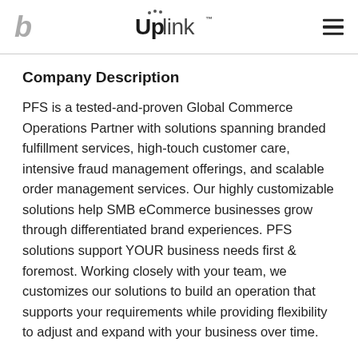b  Uplink™  ☰
Company Description
PFS is a tested-and-proven Global Commerce Operations Partner with solutions spanning branded fulfillment services, high-touch customer care, intensive fraud management offerings, and scalable order management services. Our highly customizable solutions help SMB eCommerce businesses grow through differentiated brand experiences. PFS solutions support YOUR business needs first & foremost. Working closely with your team, we customizes our solutions to build an operation that supports your requirements while providing flexibility to adjust and expand with your business over time.